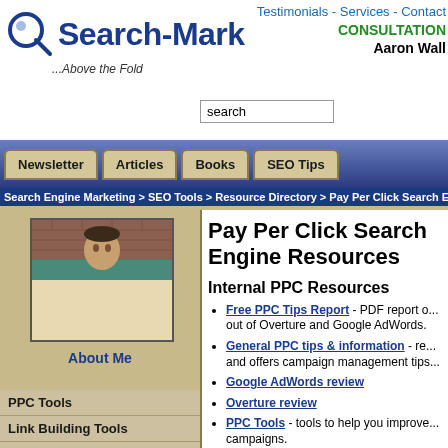Search-Mark ...Above the Fold | Testimonials - Services - Contact | CONSULTATION | Aaron Wall | search
Newsletter | Articles | Books | SEO Tips
Search Engine Marketing > SEO Tools > Resource Directory > Pay Per Click Search E...
[Figure (photo): Photo of Aaron Wall, showing a man's face and shoulders against a brick wall and teal background]
About Me
PPC Tools
Link Building Tools
Web Site Submission
SEO Books
Keyword Tools
Coding Tools
Rank Checking
Tracking Software
SEO Index
Pay Per Click Search Engine Resources
Internal PPC Resources
Free PPC Tips Report - PDF report o... out of Overture and Google AdWords.
General PPC tips & information - re... and offers campaign management tips...
Google AdWords review
Overture review
PPC Tools - tools to help you improve... campaigns.
PPC SEM Firms
Did it - Kevin Lee's website offering...